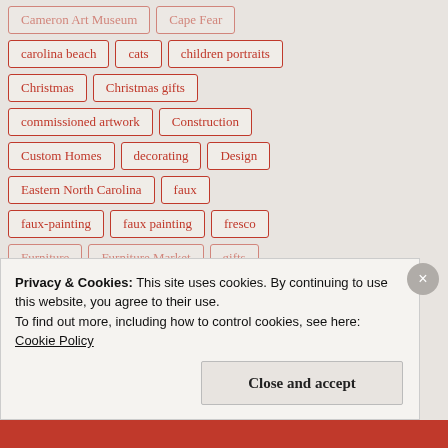Cameron Art Museum
Cape Fear
carolina beach
cats
children portraits
Christmas
Christmas gifts
commissioned artwork
Construction
Custom Homes
decorating
Design
Eastern North Carolina
faux
faux-painting
faux painting
fresco
Furniture
Furniture Market
gifts
Privacy & Cookies: This site uses cookies. By continuing to use this website, you agree to their use.
To find out more, including how to control cookies, see here:
Cookie Policy
Close and accept